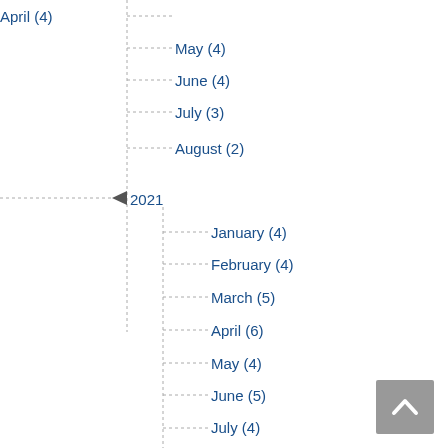April (4)
May (4)
June (4)
July (3)
August (2)
2021
January (4)
February (4)
March (5)
April (6)
May (4)
June (5)
July (4)
August (5)
September (5)
October (4)
November (6)